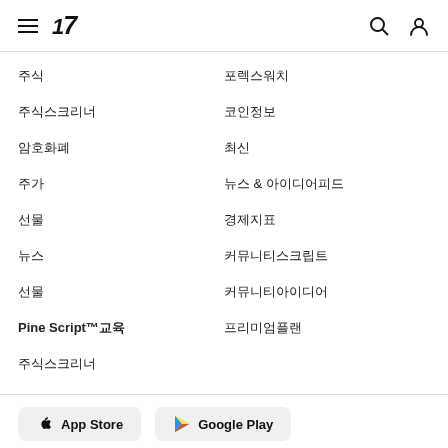TradingView navigation menu
주식
포렉스워치
주식스크리너
암호화폐
주가
선물
뉴스
Pine Script™교육
주식스크리너
코인정보
최신
뉴스 & 아이디어피드
경제지표
커뮤니티스크립트
커뮤니티아이디어
프리미엄플랜
App Store  Google Play